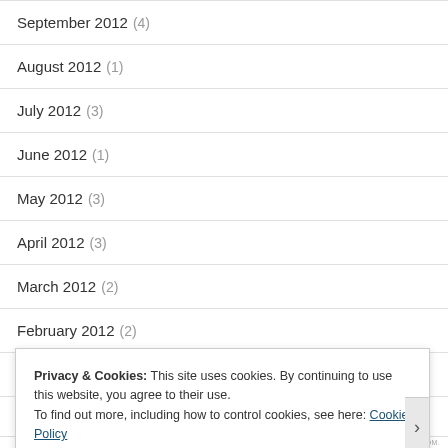September 2012 (4)
August 2012 (1)
July 2012 (3)
June 2012 (1)
May 2012 (3)
April 2012 (3)
March 2012 (2)
February 2012 (2)
January 2012 (4)
December 2011 (7)
Privacy & Cookies: This site uses cookies. By continuing to use this website, you agree to their use. To find out more, including how to control cookies, see here: Cookie Policy
Close and accept